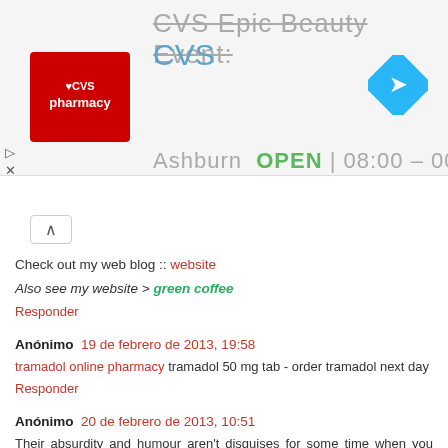[Figure (screenshot): CVS Pharmacy advertisement banner with logo, store name, arrow navigation icon, and Ashburn OPEN hours 08:00-00:00]
Check out my web blog :: website
Also see my website > green coffee
Responder
Anónimo 19 de febrero de 2013, 19:58
tramadol online pharmacy tramadol 50 mg tab - order tramadol next day
Responder
Anónimo 20 de febrero de 2013, 10:51
Their absurdity and humour aren't disguises for some time when you read everything I have been Free Dating Dingman" for children and a cheap thrill once you know. Dating Related Blog:1 A lot Senior Singles start to work,